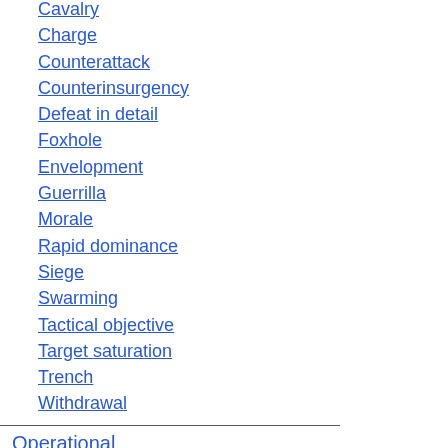Cavalry
Charge
Counterattack
Counterinsurgency
Defeat in detail
Foxhole
Envelopment
Guerrilla
Morale
Rapid dominance
Siege
Swarming
Tactical objective
Target saturation
Trench
Withdrawal
Operational
Military operation
Operations research
Blitzkrieg
Expeditionary
Deep operation
Maneuver